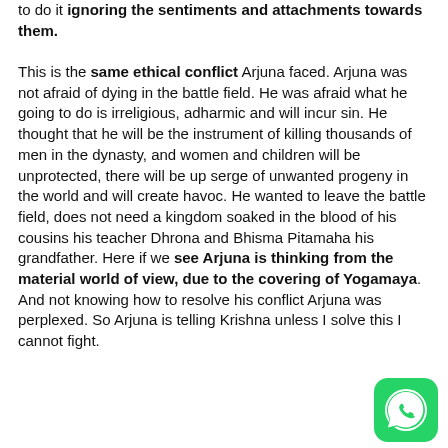to do it ignoring the sentiments and attachments towards them.

This is the same ethical conflict Arjuna faced. Arjuna was not afraid of dying in the battle field. He was afraid what he going to do is irreligious, adharmic and will incur sin. He thought that he will be the instrument of killing thousands of men in the dynasty, and women and children will be unprotected, there will be up serge of unwanted progeny in the world and will create havoc. He wanted to leave the battle field, does not need a kingdom soaked in the blood of his cousins his teacher Dhrona and Bhisma Pitamaha his grandfather. Here if we see Arjuna is thinking from the material world of view, due to the covering of Yogamaya. And not knowing how to resolve his conflict Arjuna was perplexed. So Arjuna is telling Krishna unless I solve this I cannot fight.
[Figure (logo): WhatsApp green icon with phone handset symbol]